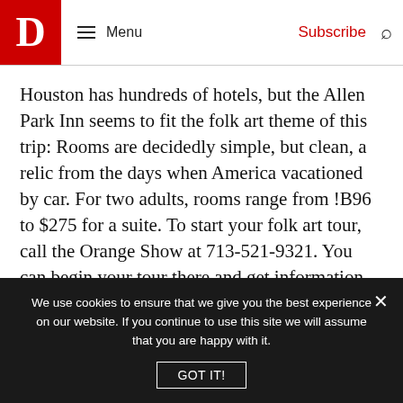D | Menu | Subscribe
Houston has hundreds of hotels, but the Allen Park Inn seems to fit the folk art theme of this trip: Rooms are decidedly simple, but clean, a relic from the days when America vacationed by car. For two adults, rooms range from !B96 to $275 for a suite. To start your folk art tour, call the Orange Show at 713-521-9321. You can begin your tour there and get information about other artists in Houston.
<BR>BIRDS OF PARADISE
We use cookies to ensure that we give you the best experience on our website. If you continue to use this site we will assume that you are happy with it.
GOT IT!